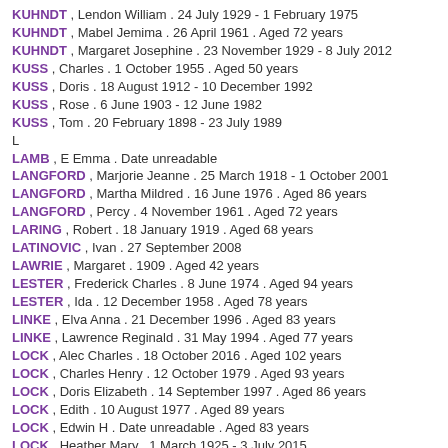KUHNDT , Lendon William . 24 July 1929 - 1 February 1975
KUHNDT , Mabel Jemima . 26 April 1961 . Aged 72 years
KUHNDT , Margaret Josephine . 23 November 1929 - 8 July 2012
KUSS , Charles . 1 October 1955 . Aged 50 years
KUSS , Doris . 18 August 1912 - 10 December 1992
KUSS , Rose . 6 June 1903 - 12 June 1982
KUSS , Tom . 20 February 1898 - 23 July 1989
L
LAMB , E Emma . Date unreadable
LANGFORD , Marjorie Jeanne . 25 March 1918 - 1 October 2001
LANGFORD , Martha Mildred . 16 June 1976 . Aged 86 years
LANGFORD , Percy . 4 November 1961 . Aged 72 years
LARING , Robert . 18 January 1919 . Aged 68 years
LATINOVIC , Ivan . 27 September 2008
LAWRIE , Margaret . 1909 . Aged 42 years
LESTER , Frederick Charles . 8 June 1974 . Aged 94 years
LESTER , Ida . 12 December 1958 . Aged 78 years
LINKE , Elva Anna . 21 December 1996 . Aged 83 years
LINKE , Lawrence Reginald . 31 May 1994 . Aged 77 years
LOCK , Alec Charles . 18 October 2016 . Aged 102 years
LOCK , Charles Henry . 12 October 1979 . Aged 93 years
LOCK , Doris Elizabeth . 14 September 1997 . Aged 86 years
LOCK , Edith . 10 August 1977 . Aged 89 years
LOCK , Edwin H . Date unreadable . Aged 83 years
LOCK , Heather Mary . 1 March 1925 - 3 July 2015
LOCK , Lyal Edwin . 1 October 1925 - 9 August 2016
LOCK , Mabel Emma . Date unreadable . Aged 76 years
LODGE , Brian Malcolm . 30 September 1918 - 14 December 1993
LODGE , Carlysele E . 26 June 1928 . Aged 64 years
LODGE , Colin Stanley . 19 April 1930 - 15 October 1994